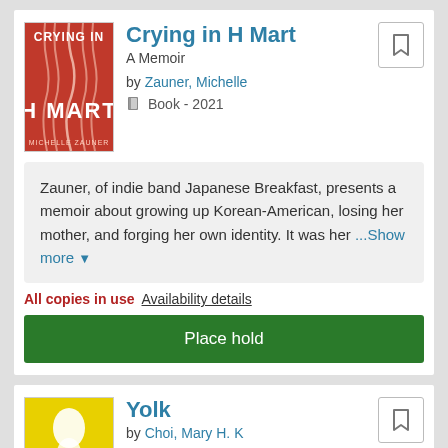[Figure (illustration): Book cover for 'Crying in H Mart' by Michelle Zauner — red background with hanging noodles forming the letter M, white text]
Crying in H Mart
A Memoir
by Zauner, Michelle
Book - 2021
Zauner, of indie band Japanese Breakfast, presents a memoir about growing up Korean-American, losing her mother, and forging her own identity. It was her ... Show more
All copies in use  Availability details
Place hold
[Figure (illustration): Book cover for 'Yolk' by Mary H. K. Choi — yellow background with illustrated figures]
Yolk
by Choi, Mary H. K
Book - 2021